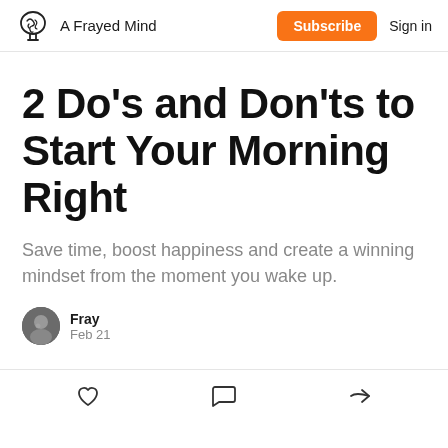A Frayed Mind  Subscribe  Sign in
2 Do's and Don'ts to Start Your Morning Right
Save time, boost happiness and create a winning mindset from the moment you wake up.
Fray
Feb 21